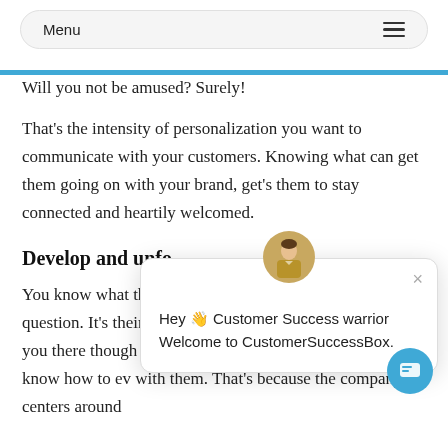Menu
Will you not be amused? Surely!
That's the intensity of personalization you want to communicate with your customers. Knowing what can get them going on with your brand, get's them to stay connected and heartily welcomed.
Develop and unfo
You know what they nee But how will you grow is the question. It's their usage of a feature or the trend that gets you there though there exist no traces of feedback, you still know how to ev with them. That's because the company centers around
[Figure (screenshot): Chat widget popup with avatar image of a person in a gold uniform, close button (×), and text 'Hey 👋 Customer Success warrior Welcome to CustomerSuccessBox.' with a blue circular chat button at bottom right.]